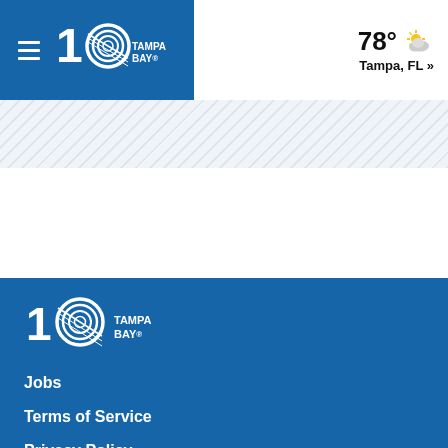10 Tampa Bay — 78° Tampa, FL »
[Figure (logo): 10 Tampa Bay logo in header, white on blue background]
[Figure (logo): 10 Tampa Bay logo in footer, white on blue background]
Jobs
Terms of Service
Privacy Policy